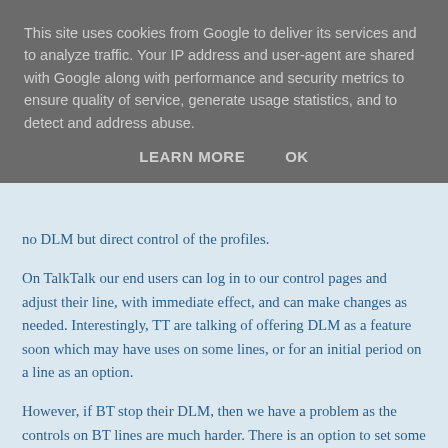This site uses cookies from Google to deliver its services and to analyze traffic. Your IP address and user-agent are shared with Google along with performance and security metrics to ensure quality of service, generate usage statistics, and to detect and address abuse.
LEARN MORE   OK
no DLM but direct control of the profiles.
On TalkTalk our end users can log in to our control pages and adjust their line, with immediate effect, and can make changes as needed. Interestingly, TT are talking of offering DLM as a feature soon which may have uses on some lines, or for an initial period on a line as an option.
However, if BT stop their DLM, then we have a problem as the controls on BT lines are much harder. There is an option to set some of the settings, but they have a very annoying lock out when used meaning you cannot make another change for 10 days. This makes it impossible to tweak a line without the risk of breaking it totally. At present, if you set it wrong the DLM will kick in,